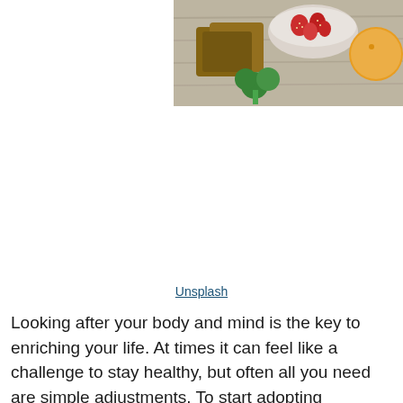[Figure (photo): Overhead view of healthy food items including bread, a bowl of strawberries, broccoli, and an orange on a wooden table surface.]
Unsplash
Looking after your body and mind is the key to enriching your life. At times it can feel like a challenge to stay healthy, but often all you need are simple adjustments. To start adopting healthier habits today, here are a few ideas for